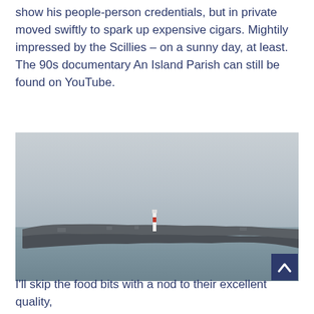show his people-person credentials, but in private moved swiftly to spark up expensive cigars. Mightily impressed by the Scillies – on a sunny day, at least. The 90s documentary An Island Parish can still be found on YouTube.
[Figure (photo): A coastal landscape photograph showing a calm grey-blue sea in the foreground, a low rocky headland or island in the middle distance with a red-and-white striped lighthouse visible, and a hazy pale grey sky filling the upper half of the image. A dark navy 'back to top' button with a white chevron arrow is overlaid in the bottom-right corner.]
I'll skip the food bits with a nod to their excellent quality,